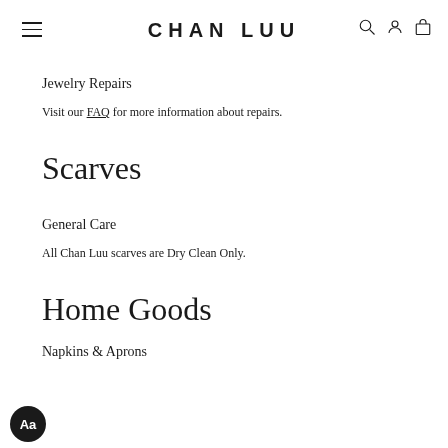CHAN LUU
Jewelry Repairs
Visit our FAQ for more information about repairs.
Scarves
General Care
All Chan Luu scarves are Dry Clean Only.
Home Goods
Napkins & Aprons